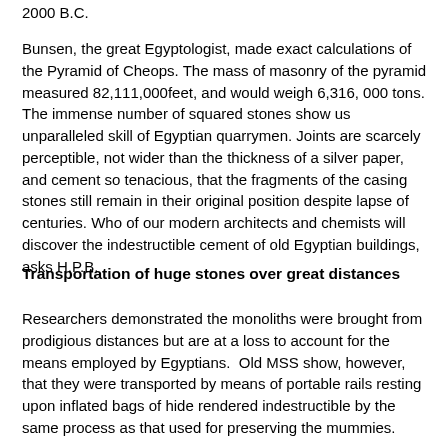2000 B.C.
Bunsen, the great Egyptologist, made exact calculations of the Pyramid of Cheops. The mass of masonry of the pyramid measured 82,111,000feet, and would weigh 6,316, 000 tons.  The immense number of squared stones show us unparalleled skill of Egyptian quarrymen. Joints are scarcely perceptible, not wider than the thickness of a silver paper, and cement so tenacious, that the fragments of the casing stones still remain in their original position despite lapse of centuries. Who of our modern architects and chemists will discover the indestructible cement of old Egyptian buildings, asks H.P.B.
Transportation of huge stones over great distances
Researchers demonstrated the monoliths were brought from prodigious distances but are at a loss to account for the means employed by Egyptians.  Old MSS show, however, that they were transported by means of portable rails resting upon inflated bags of hide rendered indestructible by the same process as that used for preserving the mummies.